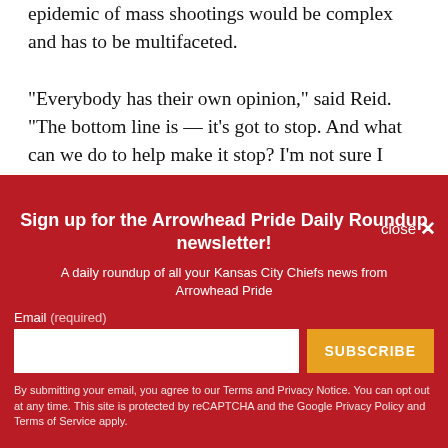acknowledging that any solution that addresses the epidemic of mass shootings would be complex and has to be multifaceted.
“Everybody has their own opinion,” said Reid. “The bottom line is — it’s got to stop. And what can we do to help make it stop? I’m not sure I have the answer other
[Figure (screenshot): Newsletter signup overlay with dark red background. Title: 'Sign up for the Arrowhead Pride Daily Roundup newsletter!' Subtitle: 'A daily roundup of all your Kansas City Chiefs news from Arrowhead Pride'. Email input field and SUBSCRIBE button. Legal text about Terms and Privacy Notice, reCAPTCHA, Google Privacy Policy and Terms of Service. Close button in top right.]